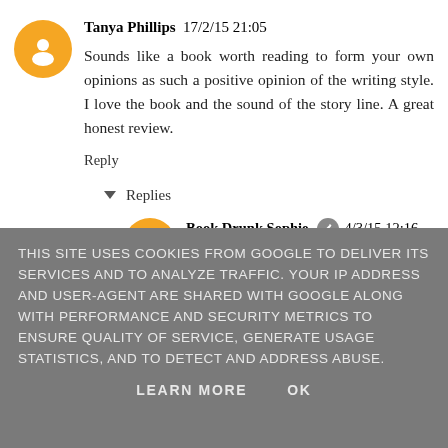Tanya Phillips 17/2/15 21:05
Sounds like a book worth reading to form your own opinions as such a positive opinion of the writing style. I love the book and the sound of the story line. A great honest review.
Reply
Replies
Book Drunk Sophie 4/3/15 12:16
Thanks, Tanya! I loved the writing style, just found
THIS SITE USES COOKIES FROM GOOGLE TO DELIVER ITS SERVICES AND TO ANALYZE TRAFFIC. YOUR IP ADDRESS AND USER-AGENT ARE SHARED WITH GOOGLE ALONG WITH PERFORMANCE AND SECURITY METRICS TO ENSURE QUALITY OF SERVICE, GENERATE USAGE STATISTICS, AND TO DETECT AND ADDRESS ABUSE.
LEARN MORE   OK